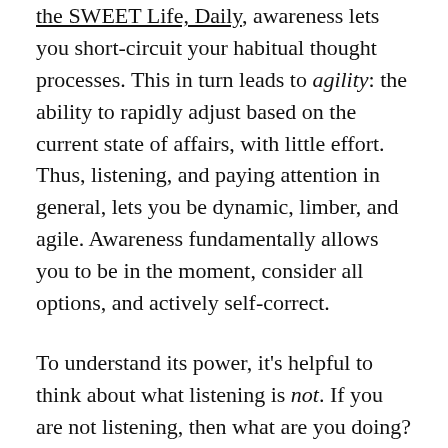the SWEET Life, Daily, awareness lets you short-circuit your habitual thought processes. This in turn leads to agility: the ability to rapidly adjust based on the current state of affairs, with little effort. Thus, listening, and paying attention in general, lets you be dynamic, limber, and agile. Awareness fundamentally allows you to be in the moment, consider all options, and actively self-correct.
To understand its power, it's helpful to think about what listening is not. If you are not listening, then what are you doing? Usually, you are absorbed in your own thoughts. You are distracted, your attention is elsewhere, and not on the person who is trying to communicate with you. If you are not aware of what's going on and being said, and you only check in haphazardly or reactively, the input to your decision making apparatus (i.e., your brain) is limited and biased, making it more difficult to react in a timely